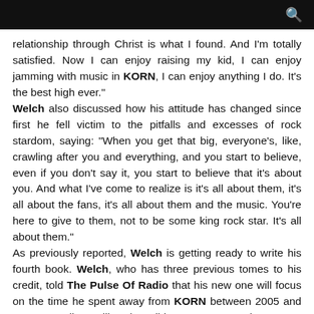[search icon on black bar]
relationship through Christ is what I found. And I'm totally satisfied. Now I can enjoy raising my kid, I can enjoy jamming with music in KORN, I can enjoy anything I do. It's the best high ever."
Welch also discussed how his attitude has changed since first he fell victim to the pitfalls and excesses of rock stardom, saying: "When you get that big, everyone's, like, crawling after you and everything, and you start to believe, even if you don't say it, you start to believe that it's about you. And what I've come to realize is it's all about them, it's all about the fans, it's all about them and the music. You're here to give to them, not to be some king rock star. It's all about them."
As previously reported, Welch is getting ready to write his fourth book. Welch, who has three previous tomes to his credit, told The Pulse Of Radio that his new one will focus on the time he spent away from KORN between 2005 and 2013. "I call 'em like 'the wilderness years,' when I was gone in a way, raising my daughter and doing all that stuff for all those years," he said. "And then you know, getting together with the KORN guys again and —